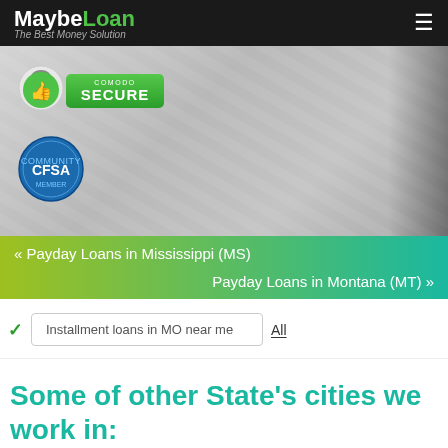MaybeLoan – The Best Money Solution
[Figure (illustration): Hero image with money/currency background, Comodo Secure badge (green thumbs up icon with COMODO SECURE label), and CFSA circular badge]
« Payday Loans in Mississippi (MS)
Payday Loans in Montana (MT) »
✓ Installment loans in MO near me   All
Some of other State's cities we work in: